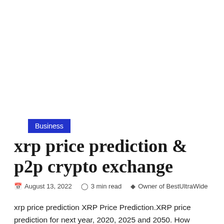Business
xrp price prediction & p2p crypto exchange
August 13, 2022   3 min read   Owner of BestUltraWide
xrp price prediction XRP Price Prediction.XRP price prediction for next year, 2020, 2025 and 2050. How much XRP price will be in 2022, 2023, 2024 and 2025. It is hard to predict the exact price of XRP, but I predict it will be over 10$ in the next year. It